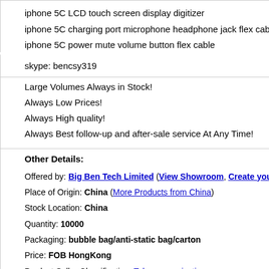iphone 5C LCD touch screen display digitizer
iphone 5C charging port microphone headphone jack flex cable
iphone 5C power mute volume button flex cable
skype: bencsy319
Large Volumes Always in Stock!
Always Low Prices!
Always High quality!
Always Best follow-up and after-sale service At Any Time!
Other Details:
Offered by: Big Ben Tech Limited (View Showroom, Create your own Showroom)
Place of Origin: China (More Products from China)
Stock Location: China
Quantity: 10000
Packaging: bubble bag/anti-static bag/carton
Price: FOB HongKong
Product Seller Classification: Telecommunications -
More Buying Info: Request Buying Details
Request More Info
This feature is only available for members.
Login Now if you are a member or
Join 65
Email Address
Similar Products